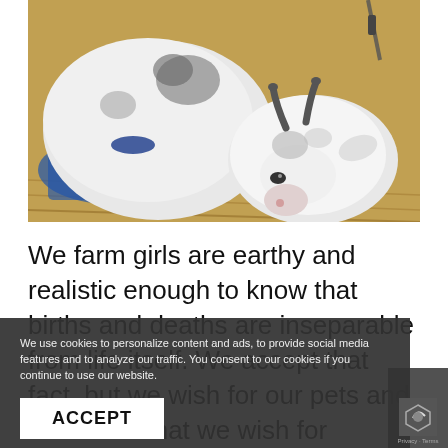[Figure (photo): Two white baby goats with dark markings resting together on hay/straw in a barn. One goat has small horns and is looking at the camera. The scene has warm barn lighting.]
We farm girls are earthy and realistic enough to know that births and deaths are inseparable from life itself. We accept that fact, but we wish for our pets and livestock what we wish for ourselves—which is not to unduly suffer as we all travel the journey of life. Pain and agony and misery are
We use cookies to personalize content and ads, to provide social media features and to analyze our traffic. You consent to our cookies if you continue to use our website.
ACCEPT